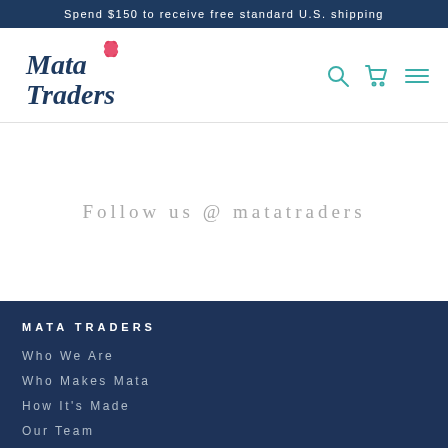Spend $150 to receive free standard U.S. shipping
[Figure (logo): Mata Traders logo with stylized script text and red flower icon]
Follow us @ matatraders
MATA TRADERS
Who We Are
Who Makes Mata
How It's Made
Our Team